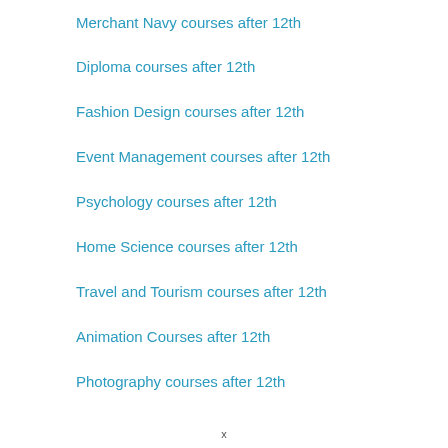Merchant Navy courses after 12th
Diploma courses after 12th
Fashion Design courses after 12th
Event Management courses after 12th
Psychology courses after 12th
Home Science courses after 12th
Travel and Tourism courses after 12th
Animation Courses after 12th
Photography courses after 12th
x